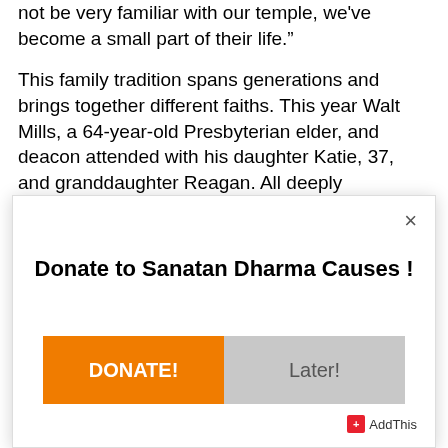not be very familiar with our temple, we've become a small part of their life.”
This family tradition spans generations and brings together different faiths. This year Walt Mills, a 64-year-old Presbyterian elder, and deacon attended with his daughter Katie, 37, and granddaughter Reagan. All deeply appreciated the festival.
[Figure (screenshot): A modal popup dialog with a white background and close button (×) in the top right. The modal contains a bold heading 'Donate to Sanatan Dharma Causes !' and two buttons side by side: an orange 'DONATE!' button on the left and a gray 'Later!' button on the right. An 'AddThis' logo appears in the bottom right corner of the modal.]